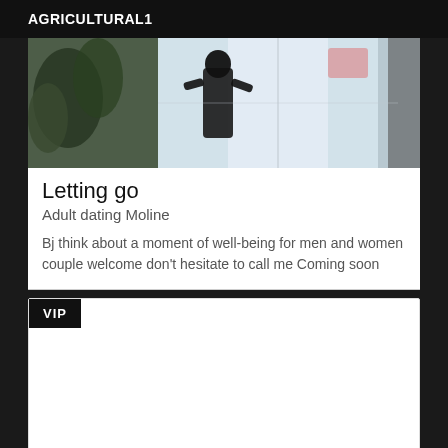AGRICULTURAL1
[Figure (photo): A blurry indoor photo showing a dark silhouette figure, plants on the left, and a bright window in the background.]
Letting go
Adult dating Moline
Bj think about a moment of well-being for men and women couple welcome don't hesitate to call me Coming soon
VIP